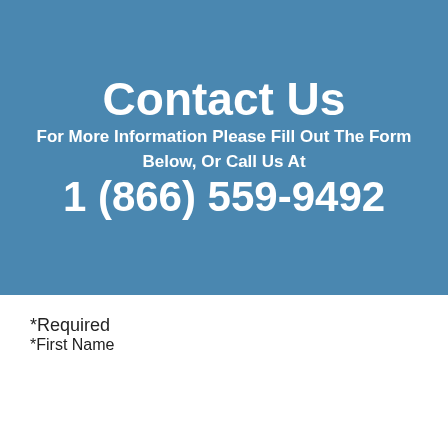Contact Us
For More Information Please Fill Out The Form Below, Or Call Us At
1 (866) 559-9492
*Required
*First Name